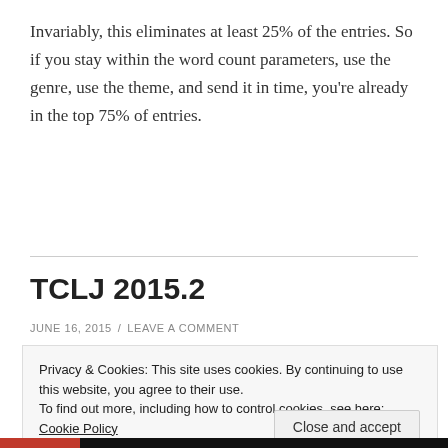Invariably, this eliminates at least 25% of the entries. So if you stay within the word count parameters, use the genre, use the theme, and send it in time, you're already in the top 75% of entries.
TCLJ 2015.2
JUNE 16, 2015 / LEAVE A COMMENT
Privacy & Cookies: This site uses cookies. By continuing to use this website, you agree to their use. To find out more, including how to control cookies, see here: Cookie Policy
Close and accept